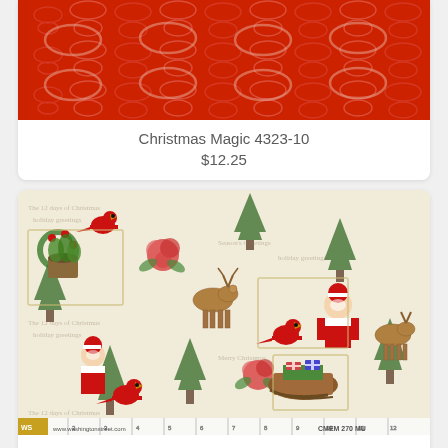[Figure (photo): Red fabric with looping/oval pattern in lighter pink/rose tones - Christmas Magic 4323-10 fabric swatch]
Christmas Magic 4323-10
$12.25
[Figure (photo): Vintage-style Christmas fabric collage with cardinals, Santa Claus, deer, roses, pine trees, and holiday postcards on cream background - Christmas Memories 270MU]
Christmas Memories 270MU